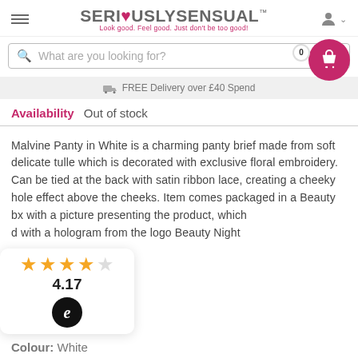SERI♥USLYSENSUAL™ — Look good. Feel good. Just don't be too good!
What are you looking for?
FREE Delivery over £40 Spend
Availability  Out of stock
Malvine Panty in White is a charming panty brief made from soft delicate tulle which is decorated with exclusive floral embroidery. Can be tied at the back with satin ribbon lace, creating a cheeky hole effect above the cheeks. Item comes packaged in a Beauty box with a picture presenting the product, which d with a hologram from the logo Beauty Night
4.17
Colour: White